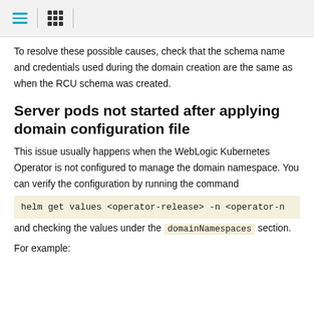To resolve these possible causes, check that the schema name and credentials used during the domain creation are the same as when the RCU schema was created.
Server pods not started after applying domain configuration file
This issue usually happens when the WebLogic Kubernetes Operator is not configured to manage the domain namespace. You can verify the configuration by running the command
helm get values <operator-release> -n <operator-n
and checking the values under the domainNamespaces section.
For example: